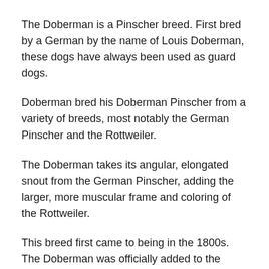The Doberman is a Pinscher breed. First bred by a German by the name of Louis Doberman, these dogs have always been used as guard dogs.
Doberman bred his Doberman Pinscher from a variety of breeds, most notably the German Pinscher and the Rottweiler.
The Doberman takes its angular, elongated snout from the German Pinscher, adding the larger, more muscular frame and coloring of the Rottweiler.
This breed first came to being in the 1800s. The Doberman was officially added to the American Kennel Club registry in 1908 and has been one of Americas most popular working breeds ever since.